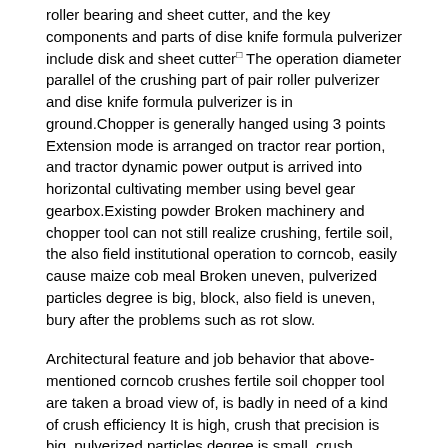roller bearing and sheet cutter, and the key components and parts of dise knife formula pulverizer include disk and sheet cutter. The operation diameter parallel of the crushing part of pair roller pulverizer and dise knife formula pulverizer is in ground.Chopper is generally hanged using 3 points Extension mode is arranged on tractor rear portion, and tractor dynamic power output is arrived into horizontal cultivating member using bevel gear gearbox.Existing powder Broken machinery and chopper tool can not still realize crushing, fertile soil, the also field institutional operation to corncob, easily cause maize cob meal Broken uneven, pulverized particles degree is big, block, also field is uneven, bury after the problems such as rot slow.
Architectural feature and job behavior that above-mentioned corncob crushes fertile soil chopper tool are taken a broad view of, is badly in need of a kind of crush efficiency It is high, crush that precision is big, pulverized particles degree is small, crush, crushing synchronous with fertile soil also field after imitated with the mixed uniformly corncob of soil The broken fertile soil chopper of fecula.
The content of the invention